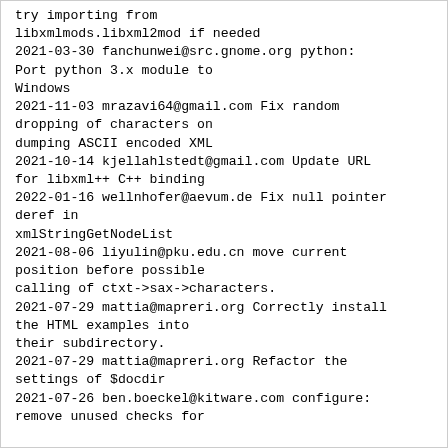try importing from
libxmlmods.libxml2mod if needed
2021-03-30 fanchunwei@src.gnome.org python:
Port python 3.x module to
Windows
2021-11-03 mrazavi64@gmail.com Fix random
dropping of characters on
dumping ASCII encoded XML
2021-10-14 kjellahlstedt@gmail.com Update URL
for libxml++ C++ binding
2022-01-16 wellnhofer@aevum.de Fix null pointer
deref in
xmlStringGetNodeList
2021-08-06 liyulin@pku.edu.cn move current
position before possible
calling of ctxt->sax->characters.
2021-07-29 mattia@mapreri.org Correctly install
the HTML examples into
their subdirectory.
2021-07-29 mattia@mapreri.org Refactor the
settings of $docdir
2021-07-26 ben.boeckel@kitware.com configure:
remove unused checks for